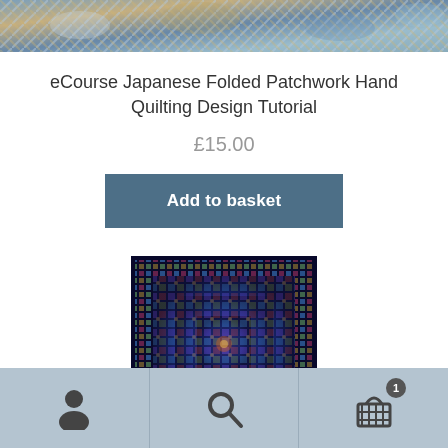[Figure (photo): Partial view of a Japanese folded patchwork quilt with blue, teal, and warm-toned fabric patterns at the top of the page]
eCourse Japanese Folded Patchwork Hand Quilting Design Tutorial
£15.00
Add to basket
[Figure (photo): Thumbnail image of a Japanese folded patchwork quilt with intricate multicolored symmetrical pattern on dark background]
Navigation bar with user icon, search icon, and shopping basket icon with badge showing 1 item